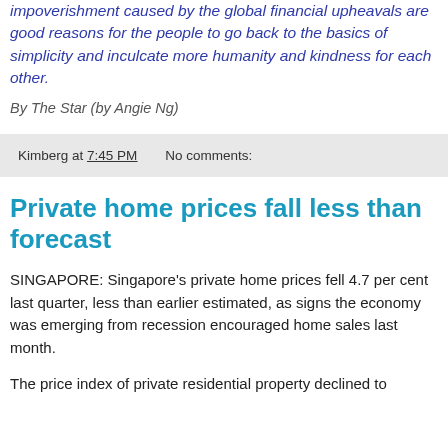impoverishment caused by the global financial upheavals are good reasons for the people to go back to the basics of simplicity and inculcate more humanity and kindness for each other.
By The Star (by Angie Ng)
Kimberg at 7:45 PM   No comments:
Private home prices fall less than forecast
SINGAPORE: Singapore's private home prices fell 4.7 per cent last quarter, less than earlier estimated, as signs the economy was emerging from recession encouraged home sales last month.
The price index of private residential property declined to